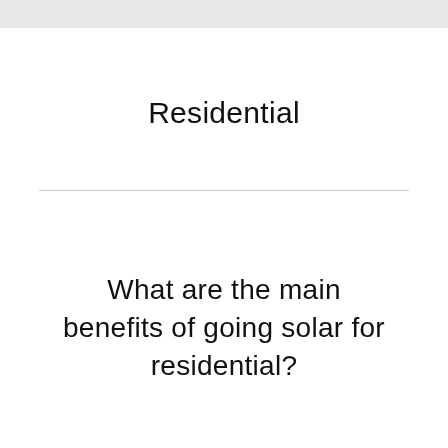Residential
What are the main benefits of going solar for residential?